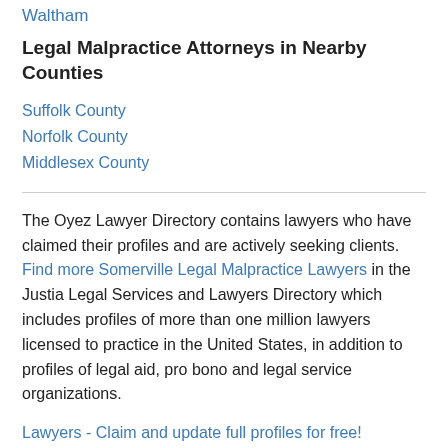Waltham
Legal Malpractice Attorneys in Nearby Counties
Suffolk County
Norfolk County
Middlesex County
The Oyez Lawyer Directory contains lawyers who have claimed their profiles and are actively seeking clients. Find more Somerville Legal Malpractice Lawyers in the Justia Legal Services and Lawyers Directory which includes profiles of more than one million lawyers licensed to practice in the United States, in addition to profiles of legal aid, pro bono and legal service organizations.
Lawyers - Claim and update full profiles for free!